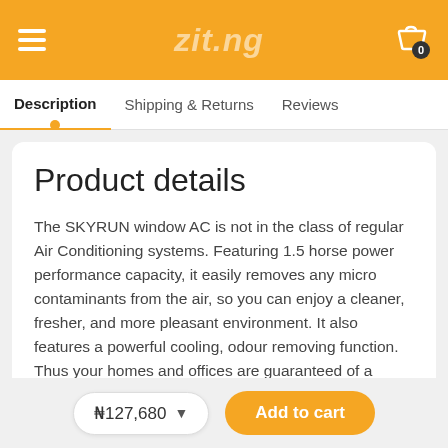zit.ng
Description | Shipping & Returns | Reviews
Product details
The SKYRUN window AC is not in the class of regular Air Conditioning systems. Featuring 1.5 horse power performance capacity, it easily removes any micro contaminants from the air, so you can enjoy a cleaner, fresher, and more pleasant environment. It also features a powerful cooling, odour removing function. Thus your homes and offices are guaranteed of a refreshing and more appealing ambience.
₦127,680 | Add to cart